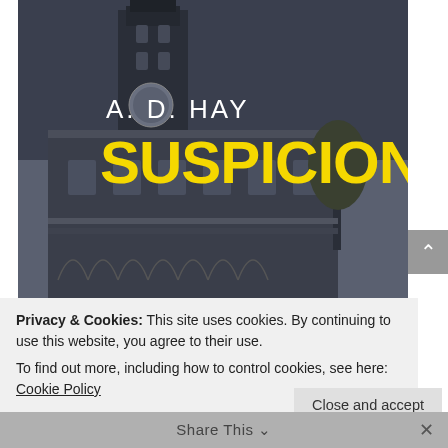[Figure (photo): Book cover of 'Suspicion' by A. D. Hay, showing a gothic stone building/church in black and white with the author name in white and title in bold yellow text]
Privacy & Cookies: This site uses cookies. By continuing to use this website, you agree to their use.
To find out more, including how to control cookies, see here: Cookie Policy
Close and accept
Share This